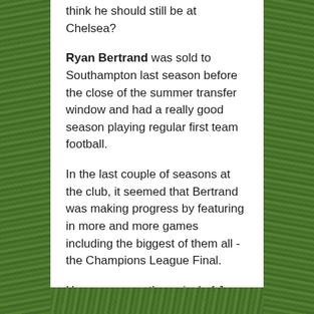think he should still be at Chelsea?
Ryan Bertrand was sold to Southampton last season before the close of the summer transfer window and had a really good season playing regular first team football.
In the last couple of seasons at the club, it seemed that Bertrand was making progress by featuring in more and more games including the biggest of them all - the Champions League Final.
However, upon the arrival of Jose Mourinho, Bertrand found himself back out of the squad and initially sent out on loan to Aston Villa for the second part of the season, then sold last summer.